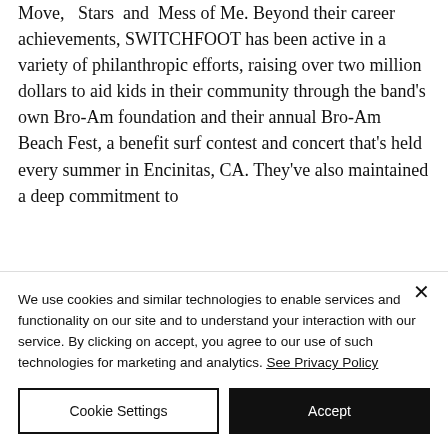Move, Stars and Mess of Me. Beyond their career achievements, SWITCHFOOT has been active in a variety of philanthropic efforts, raising over two million dollars to aid kids in their community through the band's own Bro-Am foundation and their annual Bro-Am Beach Fest, a benefit surf contest and concert that's held every summer in Encinitas, CA. They've also maintained a deep commitment to
We use cookies and similar technologies to enable services and functionality on our site and to understand your interaction with our service. By clicking on accept, you agree to our use of such technologies for marketing and analytics. See Privacy Policy